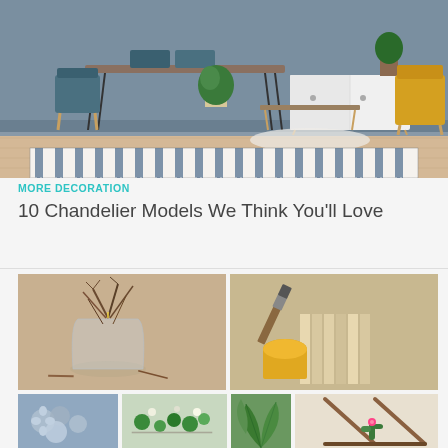[Figure (photo): Modern living/dining room interior with blue-grey walls, wooden dining table with dark metal hairpin legs, teal chairs, white sideboard, potted plants, yellow armchair, and a wide blue and white striped rug on wood floor.]
MORE DECORATION
10 Chandelier Models We Think You’ll Love
[Figure (photo): Collage of DIY home decoration photos: twig vase with candle, painting wood slats with brush and yellow paint can, paper flower crafts, small green decorative items, tropical leaves, and a wooden triangle shelf with cactus.]